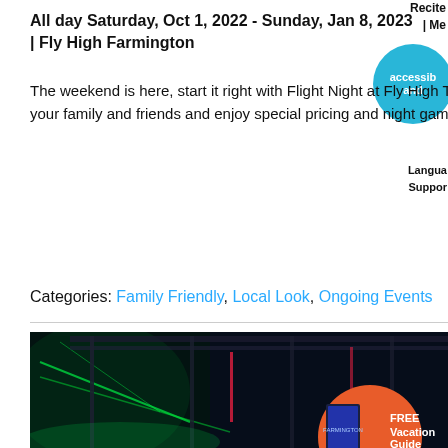All day Saturday, Oct 1, 2022 - Sunday, Jan 8, 2023 | Fly High Farmington
The weekend is here, start it right with Flight Night at Fly High Trampoline Park in Farmington. Bring your family and friends and enjoy special pricing and night games!
[Figure (other): Read More button - teal/cyan colored rectangular button with italic white text]
Categories: Family Friendly, Local Look, Ongoing Events
[Figure (photo): Interior of a trampoline/adventure park with neon green and blue lights, metal framework and obstacle course structures. Overlaid with an orange circle promotional badge showing FREE Vacation Guide with a book image, and a white scroll-to-top arrow button.]